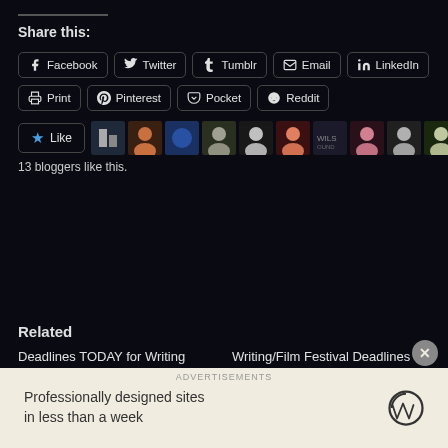Share this:
Facebook  Twitter  Tumblr  Email  LinkedIn
Print  Pinterest  Pocket  Reddit
[Figure (other): Like button with star icon and row of 11 blogger avatars/profile pictures]
13 bloggers like this.
Related
Deadlines TODAY for Writing Festival: Stage Play, Comedy Scripts, Romance Novels etc
Writing/Film Festival Deadlines Today: Stage Play, Fan Fiction, Horror, Comedy, Family
Professionally designed sites in less than a week
Advertisements